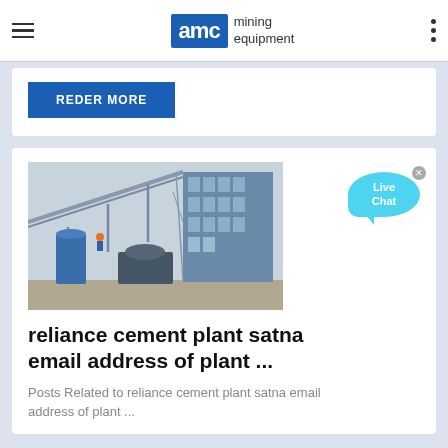AMC mining equipment
REDER MORE
[Figure (photo): Industrial cement/mining plant with conveyor belts, steel structures, and large building under construction or in operation]
reliance cement plant satna email address of plant ...
Posts Related to reliance cement plant satna email address of plant ...